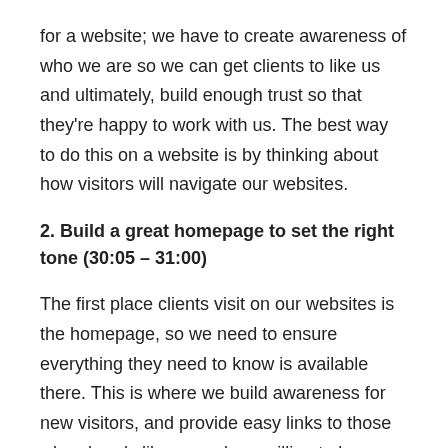for a website; we have to create awareness of who we are so we can get clients to like us and ultimately, build enough trust so that they're happy to work with us. The best way to do this on a website is by thinking about how visitors will navigate our websites.
2. Build a great homepage to set the right tone (30:05 – 31:00)
The first place clients visit on our websites is the homepage, so we need to ensure everything they need to know is available there. This is where we build awareness for new visitors, and provide easy links to those who already like us and are willing to buy our products.
3. Pay attention to personality (32:12 – 33:20)